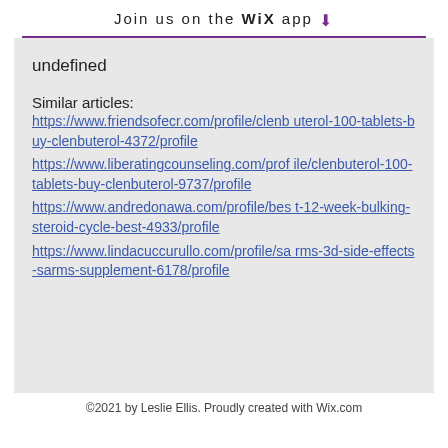Join us on the WiX app ⬇
undefined
Similar articles:
https://www.friendsofecr.com/profile/clenbuterol-100-tablets-buy-clenbuterol-4372/profile
https://www.liberatingcounseling.com/profile/clenbuterol-100-tablets-buy-clenbuterol-9737/profile
https://www.andredonawa.com/profile/best-12-week-bulking-steroid-cycle-best-4933/profile
https://www.lindacuccurullo.com/profile/sarms-3d-side-effects-sarms-supplement-6178/profile
©2021 by Leslie Ellis. Proudly created with Wix.com